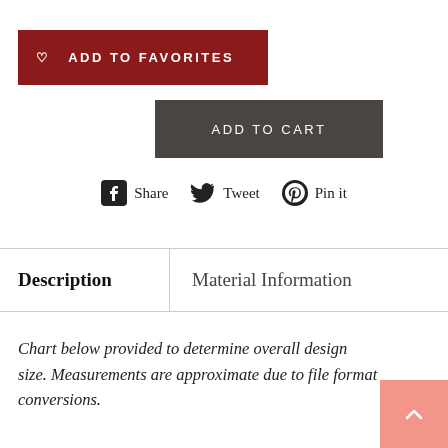♡  ADD TO FAVORITES
ADD TO CART
Share  Tweet  Pin it
Description | Material Information
Chart below provided to determine overall design size. Measurements are approximate due to file format conversions.